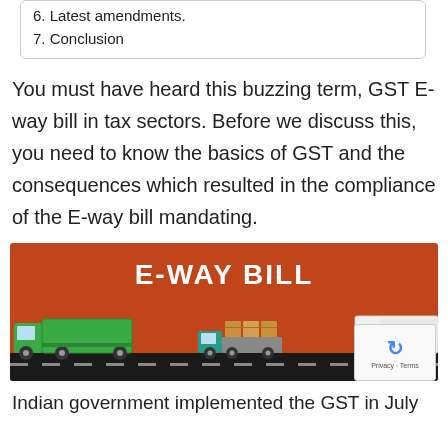6. Latest amendments.
7. Conclusion
You must have heard this buzzing term, GST E-way bill in tax sectors. Before we discuss this, you need to know the basics of GST and the consequences which resulted in the compliance of the E-way bill mandating.
[Figure (illustration): E-Way Bill banner with orange background, bold white text 'E-WAY BILL', and cartoon trucks on a road including a green truck, a teal truck with cargo, and a blue-white truck. A reCAPTCHA badge appears in the bottom-right corner.]
Indian government implemented the GST in July